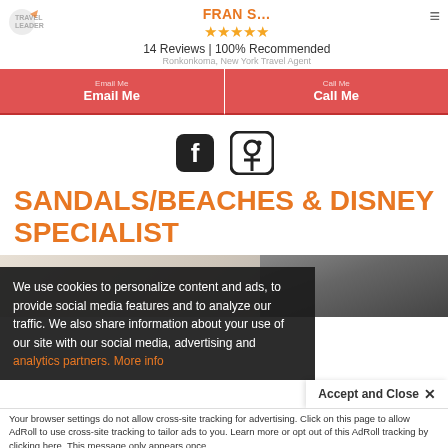TRAVEL LEADERS | FRAN S... ★★★★★ 14 Reviews | 100% Recommended | Ronkonkoma, New York Travel Agent
Email Me
Call Me
[Figure (logo): Facebook and Pinterest social media icons]
SANDALS/BEACHES & DISNEY SPECIALIST
[Figure (photo): Partially visible travel/vacation photo strip]
We use cookies to personalize content and ads, to provide social media features and to analyze our traffic. We also share information about your use of our site with our social media, advertising and analytics partners. More info
Accept and Close ✕
Your browser settings do not allow cross-site tracking for advertising. Click on this page to allow AdRoll to use cross-site tracking to tailor ads to you. Learn more or opt out of this AdRoll tracking by clicking here. This message only appears once.